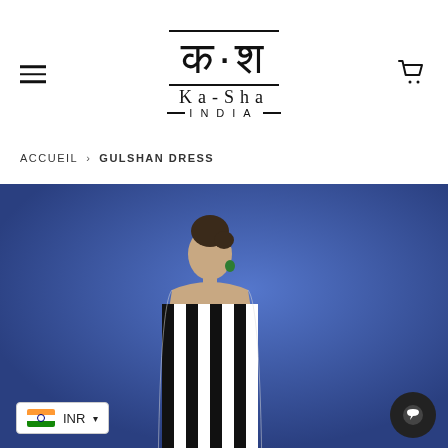Ka-Sha India — navigation header with logo, menu icon, and cart icon
ACCUEIL › GULSHAN DRESS
[Figure (photo): Woman in black and white striped sleeveless dress posing against a blue background, wearing green earrings]